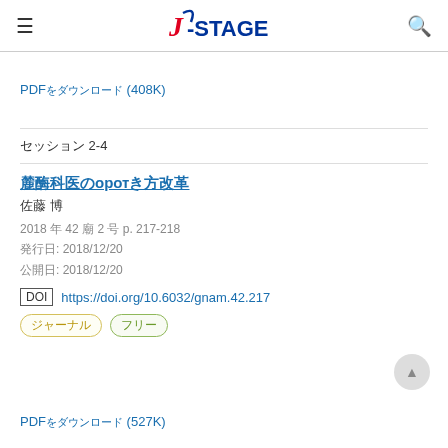J-STAGE
PDFをダウンロード (408K)
セッション 2-4
麻酔科医の働き方改革
佐藤 博
2018 年 42 巻 2 号 p. 217-218
発行日: 2018/12/20
公開日: 2018/12/20
DOI https://doi.org/10.6032/gnam.42.217
ジャーナル フリー
PDFをダウンロード (527K)